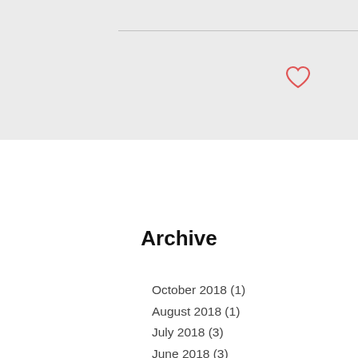[Figure (other): Gray header area with a horizontal divider line and a red heart icon in the upper right]
Archive
October 2018 (1)
August 2018 (1)
July 2018 (3)
June 2018 (3)
May 2018 (4)
April 2018 (1)
January 2018 (1)
December 2017 (3)
August 2017 (1)
July 2017 (1)
November 2016 (1)
October 2016 (1)
September 2016 (1)